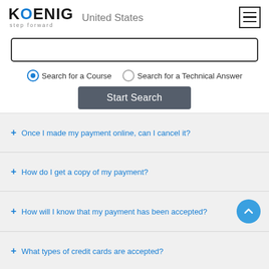[Figure (logo): Koenig Solutions logo with 'step forward' tagline and 'United States' text, plus hamburger menu icon]
Search input box (empty)
● Search for a Course   ○ Search for a Technical Answer
Start Search
+ Once I made my payment online, can I cancel it?
+ How do I get a copy of my payment?
+ How will I know that my payment has been accepted?
+ What types of credit cards are accepted?